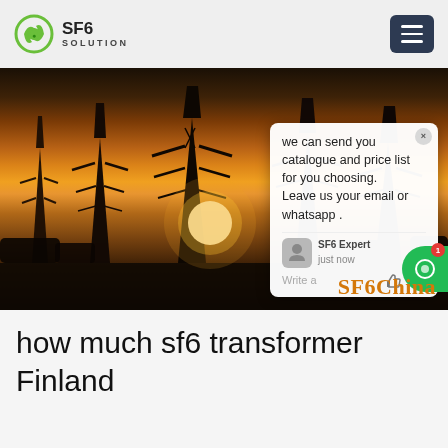SF6 SOLUTION
[Figure (photo): Power transmission substation at sunset with silhouettes of pylons and transformers, orange glow sky. Chat popup overlay visible with text: 'we can send you catalogue and price list for you choosing. Leave us your email or whatsapp.' SF6China watermark in bottom right.]
how much sf6 transformer Finland